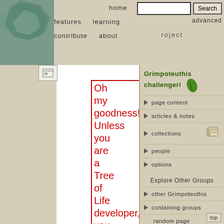home   browse   help   features   learning   contribute   about
under construction
Grimpoteuthis challengeri
page content
articles & notes
collections
people
options
Explore Other Groups
other Grimpoteuthis
containing groups
random page
Oh my goodness! Unless you are a Tree of Life developer, you really shouldn't be here. This page is part of our beta test site, where